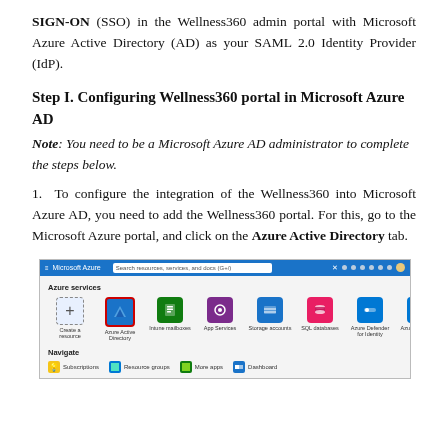SIGN-ON (SSO) in the Wellness360 admin portal with Microsoft Azure Active Directory (AD) as your SAML 2.0 Identity Provider (IdP).
Step I. Configuring Wellness360 portal in Microsoft Azure AD
Note: You need to be a Microsoft Azure AD administrator to complete the steps below.
1.  To configure the integration of the Wellness360 into Microsoft Azure AD, you need to add the Wellness360 portal. For this, go to the Microsoft Azure portal, and click on the Azure Active Directory tab.
[Figure (screenshot): Screenshot of Microsoft Azure portal showing the Azure services section with icons including Create a resource, Azure Active Directory (highlighted with red border), Intune, App Services, Storage accounts, SQL databases, Azure Defender for Identity, Azure Cognitive, Automation, More services, and a Navigate section below.]